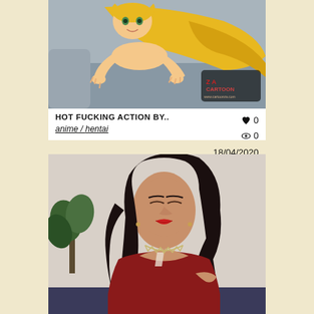[Figure (illustration): Cartoon illustration of a blonde anime character with long flowing hair, crouching on a surface. CartoonZA watermark visible in bottom right corner.]
HOT FUCKING ACTION BY..
anime / hentai
♥ 0  👁 0  18/04/2020
[Figure (photo): Photo of a dark-haired woman wearing a red top and silver necklace, with a plant visible in the background.]